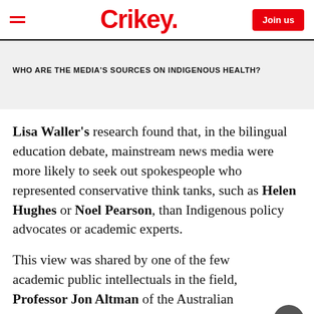Crikey. | Join us
WHO ARE THE MEDIA'S SOURCES ON INDIGENOUS HEALTH?
Lisa Waller's research found that, in the bilingual education debate, mainstream news media were more likely to seek out spokespeople who represented conservative think tanks, such as Helen Hughes or Noel Pearson, than Indigenous policy advocates or academic experts.
This view was shared by one of the few academic public intellectuals in the field, Professor Jon Altman of the Australian National University, who